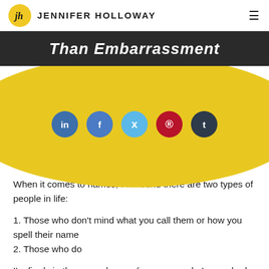JENNIFER HOLLOWAY
Than Embarrassment
[Figure (infographic): Yellow elliptical shape with five social media icon buttons (LinkedIn, Facebook, Twitter, Pinterest, Tumblr) arranged horizontally]
When it comes to names, I’ve found there are two types of people in life:
1. Those who don’t mind what you call them or how you spell their name
2. Those who do
I’m firmly in the second camp (as anyone who’s ever had the misfortune to call me Jenny knows.)